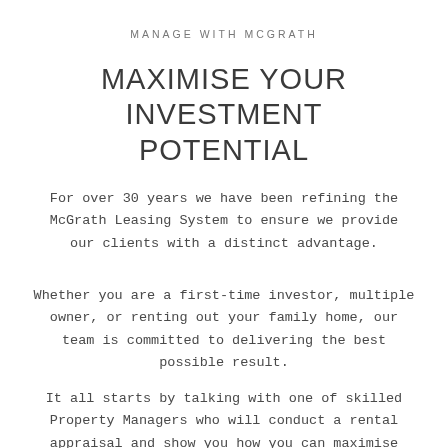MANAGE WITH MCGRATH
MAXIMISE YOUR INVESTMENT POTENTIAL
For over 30 years we have been refining the McGrath Leasing System to ensure we provide our clients with a distinct advantage.
Whether you are a first-time investor, multiple owner, or renting out your family home, our team is committed to delivering the best possible result.
It all starts by talking with one of skilled Property Managers who will conduct a rental appraisal and show you how you can maximise